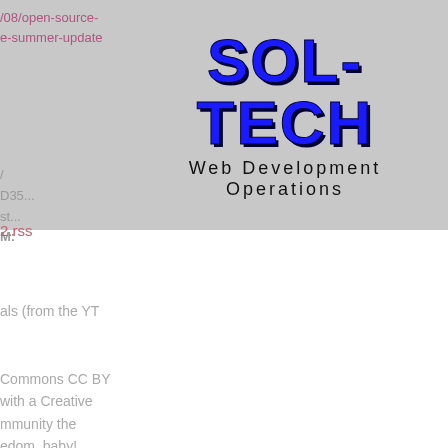/08/open-source-
e-summer-update
[Figure (logo): SOL-TECH logo with text 'Web Development Operations' below]
/
D35...
st...
M:
2.rss
als (from the YT
Commons CC BY
with a Creative
mmunity the
edom, baby!